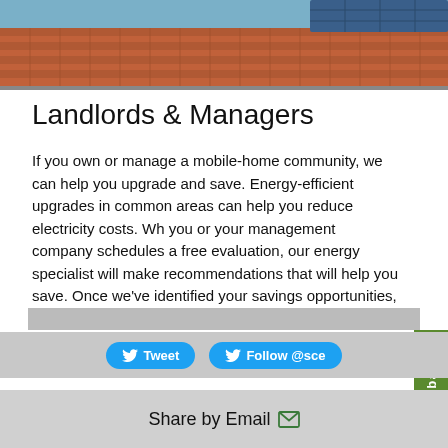[Figure (photo): Rooftop with terracotta tiles and solar panels visible in upper portion]
Landlords & Managers
If you own or manage a mobile-home community, we can help you upgrade and save. Energy-efficient upgrades in common areas can help you reduce electricity costs. When you or your management company schedules a free evaluation, our energy specialist will make recommendations that will help you save. Once we've identified your savings opportunities, we'll provide free supplies and installation.
[Figure (other): Gray placeholder bar]
[Figure (other): Twitter share bar with Tweet and Follow @sce buttons]
[Figure (other): Share by Email bar with email icon]